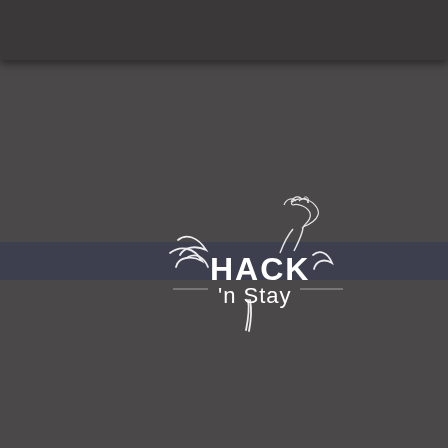[Figure (logo): Hack 'n Stay logo featuring a stylized white horse head with flowing mane lines and the text 'HACK 'n Stay' in white on a dark gray background with a dark horizontal stripe across the middle]